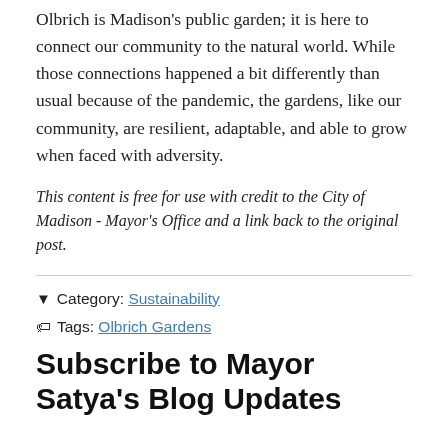Olbrich is Madison's public garden; it is here to connect our community to the natural world. While those connections happened a bit differently than usual because of the pandemic, the gardens, like our community, are resilient, adaptable, and able to grow when faced with adversity.
This content is free for use with credit to the City of Madison - Mayor's Office and a link back to the original post.
Category: Sustainability
Tags: Olbrich Gardens
Subscribe to Mayor Satya's Blog Updates